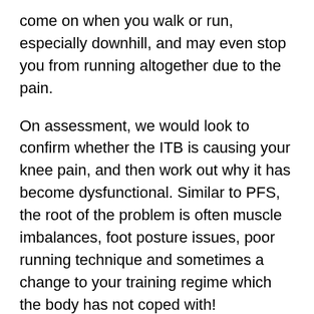come on when you walk or run, especially downhill, and may even stop you from running altogether due to the pain.
On assessment, we would look to confirm whether the ITB is causing your knee pain, and then work out why it has become dysfunctional. Similar to PFS, the root of the problem is often muscle imbalances, foot posture issues, poor running technique and sometimes a change to your training regime which the body has not coped with!
Physio's can provide exercises to correct the problem, advice on your running technique and discuss adjusting your training programme to prevent the problem worsening. We can also offer advice on how to prevent ITB syndrome from